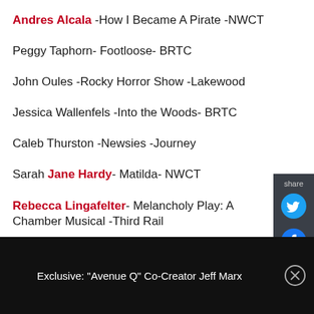Andres Alcala -How I Became A Pirate -NWCT
Peggy Taphorn- Footloose- BRTC
John Oules -Rocky Horror Show -Lakewood
Jessica Wallenfels -Into the Woods- BRTC
Caleb Thurston -Newsies -Journey
Sarah Jane Hardy- Matilda- NWCT
Rebecca Lingafelter- Melancholy Play: A Chamber Musical -Third Rail
Exclusive: "Avenue Q" Co-Creator Jeff Marx